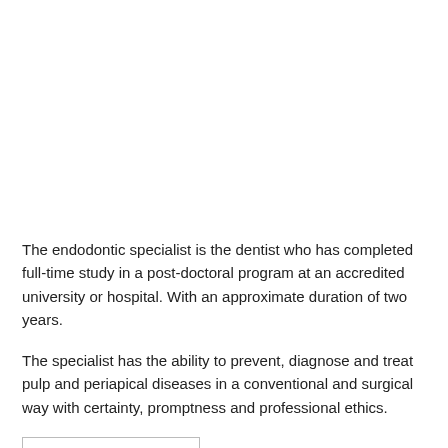The endodontic specialist is the dentist who has completed full-time study in a post-doctoral program at an accredited university or hospital. With an approximate duration of two years.
The specialist has the ability to prevent, diagnose and treat pulp and periapical diseases in a conventional and surgical way with certainty, promptness and professional ethics.
CONTINUE READING